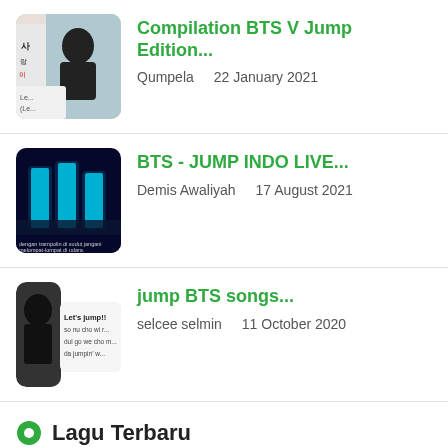Compilation BTS V Jump Edition...
Qumpela   22 January 2021
BTS - JUMP INDO LIVE...
Demis Awaliyah   17 August 2021
jump BTS songs...
selcee selmin   11 October 2020
Lagu Terbaru